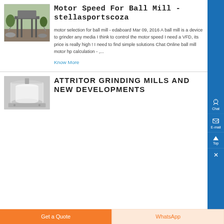Motor Speed For Ball Mill - stellasportscoza
[Figure (photo): Industrial ball mill machinery structure outdoors]
motor selection for ball mill - edaboard Mar 09, 2016 A ball mill is a device to grinder any media I think to control the motor speed I need a VFD, its price is really high ! I need to find simple solutions Chat Online ball mill motor hp calculation - ,...
Know More
ATTRITOR GRINDING MILLS AND NEW DEVELOPMENTS
[Figure (photo): Attritor grinding mill equipment, white cylindrical machine]
Get a Quote
WhatsApp